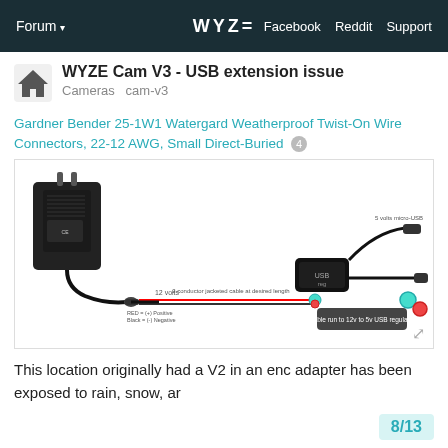Forum ▾   WYZE   Facebook   Reddit   Support
WYZE Cam V3 - USB extension issue
Cameras  cam-v3
Gardner Bender 25-1W1 Watergard Weatherproof Twist-On Wire Connectors, 22-12 AWG, Small Direct-Buried  4
[Figure (schematic): Wiring diagram showing a 12V power adapter connected via barrel jack, 2-conductor jacketed cable, to a 12V to 5V USB regulator module, then outputting 5 volts micro-USB. Labels include: RED = (+) Positive, Black = (-) Negative, 12 volts, 2 conductor jacketed cable at desired length, Cable run to 12v to 5v USB regulator, 5 volts micro-USB]
This location originally had a V2 in an enc adapter has been exposed to rain, snow, ar
8 / 13